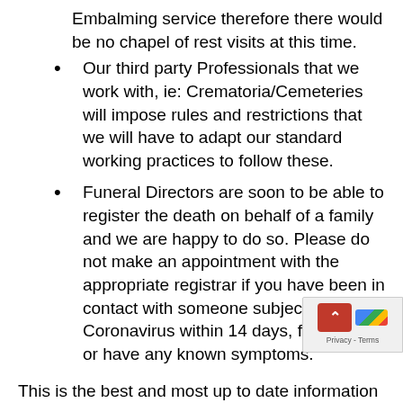Embalming service therefore there would be no chapel of rest visits at this time.
Our third party Professionals that we work with, ie: Crematoria/Cemeteries will impose rules and restrictions that we will have to adapt our standard working practices to follow these.
Funeral Directors are soon to be able to register the death on behalf of a family and we are happy to do so. Please do not make an appointment with the appropriate registrar if you have been in contact with someone subject to Coronavirus within 14 days, feel unwell or have any known symptoms.
This is the best and most up to date information